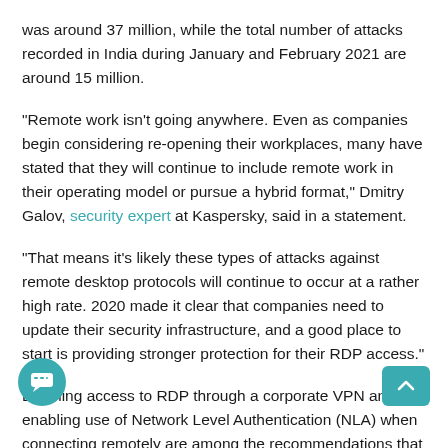was around 37 million, while the total number of attacks recorded in India during January and February 2021 are around 15 million.
"Remote work isn't going anywhere. Even as companies begin considering re-opening their workplaces, many have stated that they will continue to include remote work in their operating model or pursue a hybrid format," Dmitry Galov, security expert at Kaspersky, said in a statement.
"That means it's likely these types of attacks against remote desktop protocols will continue to occur at a rather high rate. 2020 made it clear that companies need to update their security infrastructure, and a good place to start is providing stronger protection for their RDP access."
Enabling access to RDP through a corporate VPN and enabling use of Network Level Authentication (NLA) when connecting remotely are among the recommendations that experts offered to keep organisations safe from brute-force attacks.